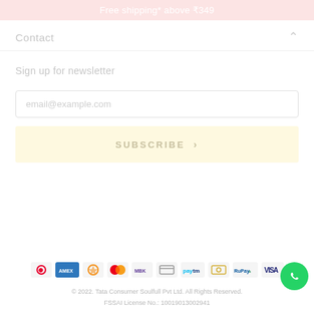Free shipping* above ₹349
Contact
Sign up for newsletter
email@example.com
SUBSCRIBE >
[Figure (logo): Row of payment method logos: Airtel, Amex, some icon, Mastercard, Mobikwik, some icon, Paytm, some icon, RuPays, VISA]
© 2022. Tata Consumer Soulfull Pvt Ltd. All Rights Reserved. FSSAI License No.: 10019013002941